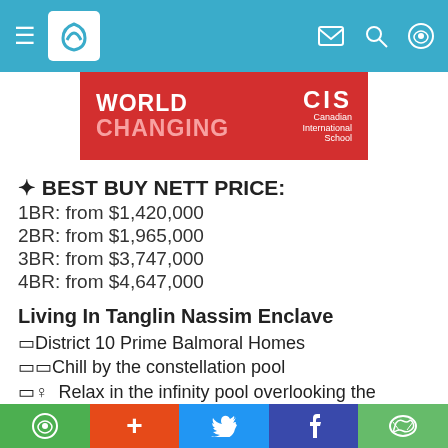Navigation bar with hamburger menu, logo, mail, search, and chat icons
[Figure (illustration): Red advertisement banner for Canadian International School with text WORLD CHANGING and CIS logo]
✦ BEST BUY NETT PRICE:
1BR: from $1,420,000
2BR: from $1,965,000
3BR: from $3,747,000
4BR: from $4,647,000
Living In Tanglin Nassim Enclave
⬡District 10 Prime Balmoral Homes
⬡⬡Chill by the constellation pool
⬡♀  Relax in the infinity pool overlooking the skylight of Orchard Road
⬡Within Prestigious Bukit Timah-Orchard Road Area
Social share bar: WhatsApp, Plus, Twitter, Facebook, WeChat